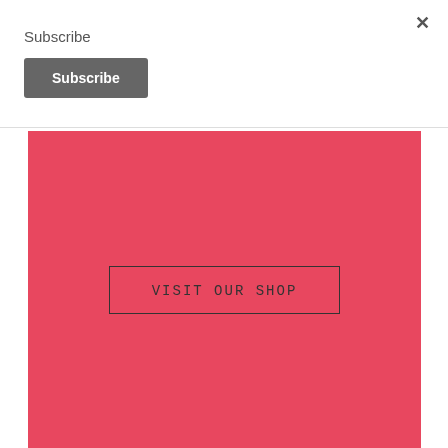×
Subscribe
Subscribe
[Figure (other): Pink/red rectangular banner area with a bordered button labeled 'VISIT OUR SHOP' in the center]